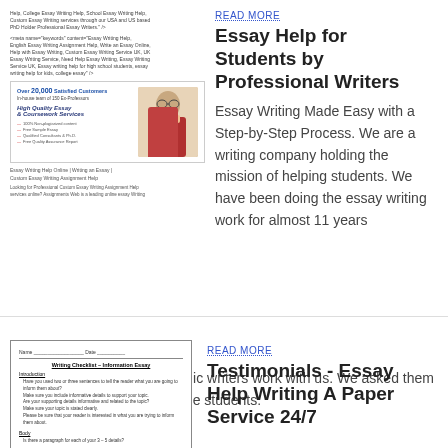[Figure (screenshot): Screenshot of essay writing help website with code markup visible]
[Figure (screenshot): Advertisement for essay writing service showing woman student]
Essay Writing Help Online | Writing an Essay | Custom Essay Writing Assignment Help
Looking for Professional Custom Essay Writing Assignment Help services online? Assignments Web is a leading online essay Writing
READ MORE
Essay Help for Students by Professional Writers
Essay Writing Made Easy with a Step-by-Step Process. We are a writing company holding the mission of helping students. We have been doing the essay writing work for almost 11 years now. Presently, 960+ academic writers work with us. We asked them what tips they have to offer the students.
[Figure (screenshot): Writing Checklist – Information Essay worksheet with sections for Introduction and Body]
READ MORE
Testimonials - Essay Help Writing A Paper Service 24/7